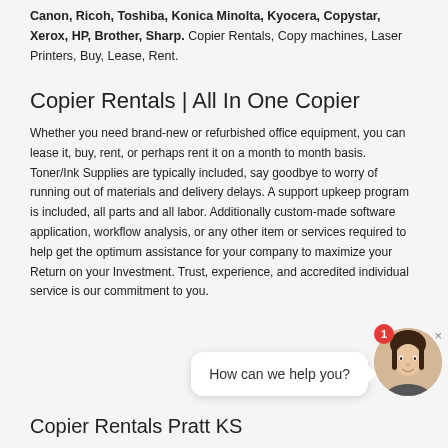Canon, Ricoh, Toshiba, Konica Minolta, Kyocera, Copystar, Xerox, HP, Brother, Sharp. Copier Rentals, Copy machines, Laser Printers, Buy, Lease, Rent.
Copier Rentals | All In One Copier
Whether you need brand-new or refurbished office equipment, you can lease it, buy, rent, or perhaps rent it on a month to month basis. Toner/Ink Supplies are typically included, say goodbye to worry of running out of materials and delivery delays. A support upkeep program is included, all parts and all labor. Additionally custom-made software application, workflow analysis, or any other item or services required to help get the optimum assistance for your company to maximize your Return on your Investment. Trust, experience, and accredited individual service is our commitment to you.
[Figure (other): Chat widget with speech bubble saying 'How can we help you?', a female avatar photo, a red notification badge showing 1, and a close (×) button.]
Copier Rentals Pratt KS